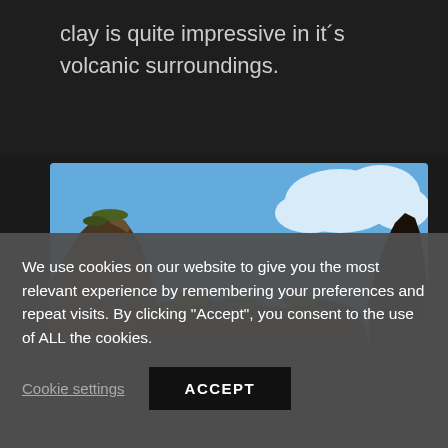clay is quite impressive in it´s volcanic surroundings.
[Figure (photo): Looking up at volcanic rock formations and dark basalt cliffs against a blue sky with white clouds]
We use cookies on our website to give you the most relevant experience by remembering your preferences and repeat visits. By clicking "Accept", you consent to the use of ALL the cookies.
Cookie settings | ACCEPT